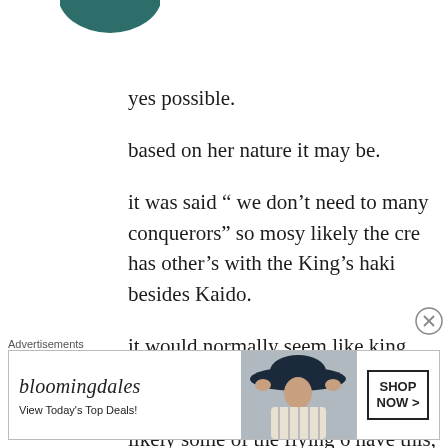[Figure (illustration): Partial dark teal/green circular shape visible at top-left corner, likely a character avatar or icon cropped at the edge]
yes possible.
based on her nature it may be.
it was said “ we don’t need to many conquerors” so mosy likely the cre has other’s with the King’s haki besides Kaido.
it would normally seem like king, Queen, or Jack since they are so high but nothing seen so far... most likely some of the flying 6 have this,
Advertisements
[Figure (screenshot): Bloomingdales advertisement banner with logo, 'View Today's Top Deals!' text, woman with hat image, and 'SHOP NOW >' button]